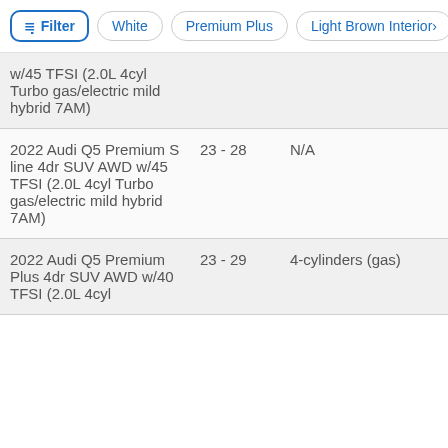Filter | White | Premium Plus | Light Brown Interior
| Model | MPG | Engine | Price |
| --- | --- | --- | --- |
| w/45 TFSI (2.0L 4cyl Turbo gas/electric mild hybrid 7AM) |  |  |  |
| 2022 Audi Q5 Premium S line 4dr SUV AWD w/45 TFSI (2.0L 4cyl Turbo gas/electric mild hybrid 7AM) | 23 - 28 | N/A | $50,53 |
| 2022 Audi Q5 Premium Plus 4dr SUV AWD w/40 TFSI (2.0L 4cyl | 23 - 29 | 4-cylinders (gas) | $51,17 |